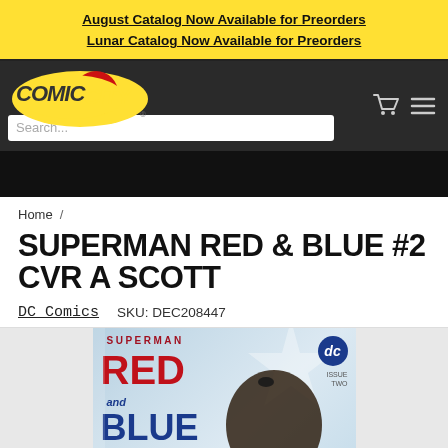August Catalog Now Available for Preorders
Lunar Catalog Now Available for Preorders
[Figure (logo): Comic City logo with yellow and red stylized text on dark navigation bar with search field and cart/search icons]
Home /
SUPERMAN RED & BLUE #2 CVR A SCOTT
DC Comics   SKU: DEC208447
[Figure (illustration): Superman Red & Blue #2 comic book cover showing Superman silhouette with red and blue stylized text, DC logo, star graphic on blue background]